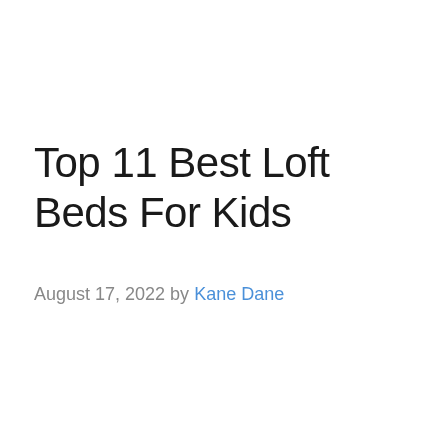Top 11 Best Loft Beds For Kids
August 17, 2022 by Kane Dane